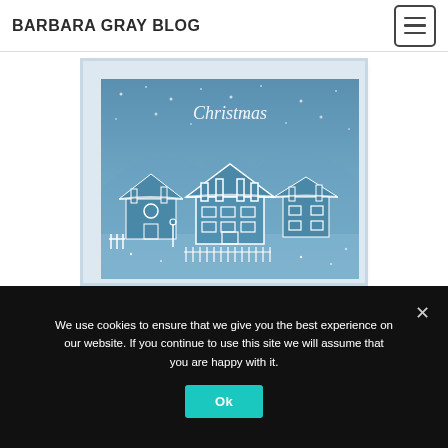BARBARA GRAY BLOG
[Figure (illustration): A blue-toned Christmas card featuring a winter village scene with snow-covered houses and chimneys, with 'Christmas' text at the top, surrounded by a dotted white border and white card base.]
Josie Davidson
We use cookies to ensure that we give you the best experience on our website. If you continue to use this site we will assume that you are happy with it.